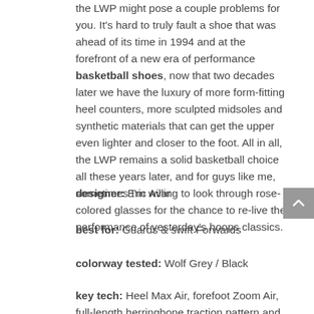the LWP might pose a couple problems for you. It's hard to truly fault a shoe that was ahead of its time in 1994 and at the forefront of a new era of performance basketball shoes, now that two decades later we have the luxury of more form-fitting heel counters, more sculpted midsoles and synthetic materials that can get the upper even lighter and closer to the foot. All in all, the LWP remains a solid basketball choice all these years later, and for guys like me, sometimes I'm willing to look through rose-colored glasses for the chance to re-live the performance of yesterday's hoops classics.
designer: Eric Avar
best for: Guards & swift Forwards
colorway tested: Wolf Grey / Black
key tech: Heel Max Air, forefoot Zoom Air, full-length herringbone traction pattern and full-length neoprene